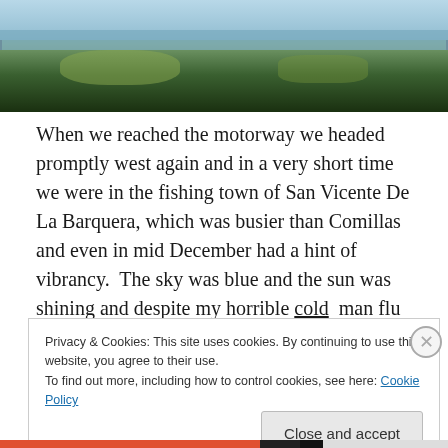[Figure (photo): Landscape photo showing a body of water (lake or estuary) with trees and hillside in the background, taken in natural daylight.]
When we reached the motorway we headed promptly west again and in a very short time we were in the fishing town of San Vicente De La Barquera, which was busier than Comillas and even in mid December had a hint of vibrancy.  The sky was blue and the sun was shining and despite my horrible cold  man flu this made me feel a whole lot better.
Privacy & Cookies: This site uses cookies. By continuing to use this website, you agree to their use.
To find out more, including how to control cookies, see here: Cookie Policy